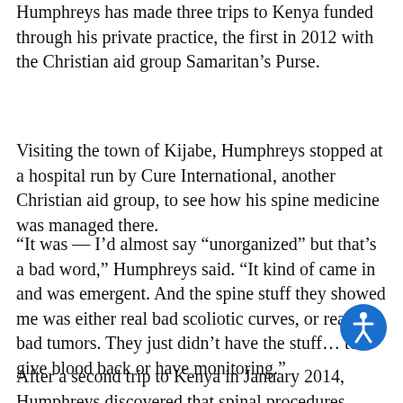Humphreys has made three trips to Kenya funded through his private practice, the first in 2012 with the Christian aid group Samaritan’s Purse.
Visiting the town of Kijabe, Humphreys stopped at a hospital run by Cure International, another Christian aid group, to see how his spine medicine was managed there.
“It was — I’d almost say “unorganized” but that’s a bad word,” Humphreys said. “It kind of came in and was emergent. And the spine stuff they showed me was either real bad scoliotic curves, or really bad tumors. They just didn’t have the stuff… to give blood back or have monitoring.”
After a second trip to Kenya in January 2014, Humphreys discovered that spinal procedures, which